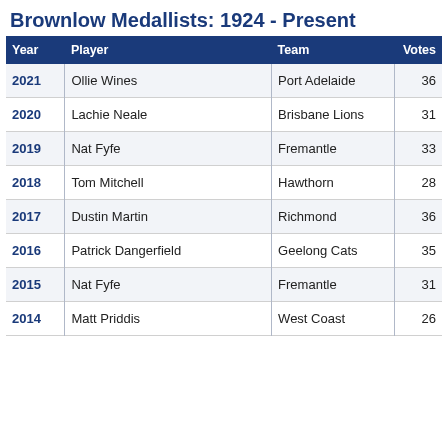Brownlow Medallists: 1924 - Present
| Year | Player | Team | Votes |
| --- | --- | --- | --- |
| 2021 | Ollie Wines | Port Adelaide | 36 |
| 2020 | Lachie Neale | Brisbane Lions | 31 |
| 2019 | Nat Fyfe | Fremantle | 33 |
| 2018 | Tom Mitchell | Hawthorn | 28 |
| 2017 | Dustin Martin | Richmond | 36 |
| 2016 | Patrick Dangerfield | Geelong Cats | 35 |
| 2015 | Nat Fyfe | Fremantle | 31 |
| 2014 | Matt Priddis | West Coast | 26 |